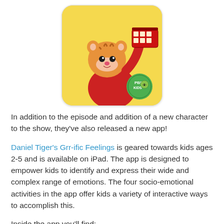[Figure (illustration): Daniel Tiger's Grr-ific Feelings app icon: animated tiger character in red hoodie holding a red trolley, on a yellow background with PBS KIDS logo in lower right, rounded square icon with white border]
In addition to the episode and addition of a new character to the show, they've also released a new app!
Daniel Tiger's Grr-ific Feelings is geared towards kids ages 2-5 and is available on iPad. The app is designed to empower kids to identify and express their wide and complex range of emotions. The four socio-emotional activities in the app offer kids a variety of interactive ways to accomplish this.
Inside the app you'll find:
Trolley Game – Drive the trolley to discover more than a dozen mini-games about feelings.